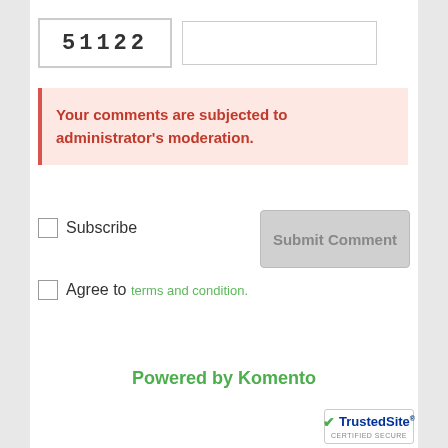[Figure (other): CAPTCHA image showing '51122' in monospace font with horizontal lines, and an empty text input field next to it]
Your comments are subjected to administrator's moderation.
Subscribe
Submit Comment
Agree to terms and condition.
Powered by Komento
[Figure (logo): TrustedSite CERTIFIED SECURE badge with green checkmark]